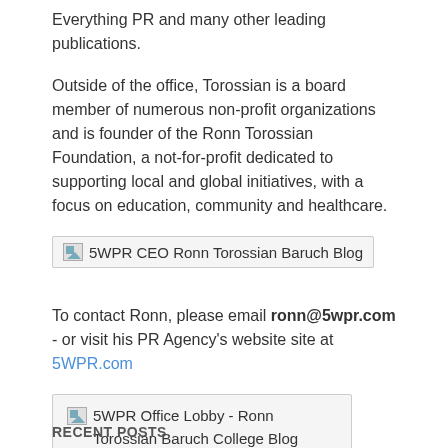Everything PR and many other leading publications.
Outside of the office, Torossian is a board member of numerous non-profit organizations and is founder of the Ronn Torossian Foundation, a not-for-profit dedicated to supporting local and global initiatives, with a focus on education, community and healthcare.
[Figure (other): Broken image placeholder for 5WPR CEO Ronn Torossian Baruch Blog link]
To contact Ronn, please email ronn@5wpr.com - or visit his PR Agency's website site at 5WPR.com
[Figure (other): Broken image placeholder for 5WPR Office Lobby - Ronn Torossian Baruch College Blog]
RECENT POSTS